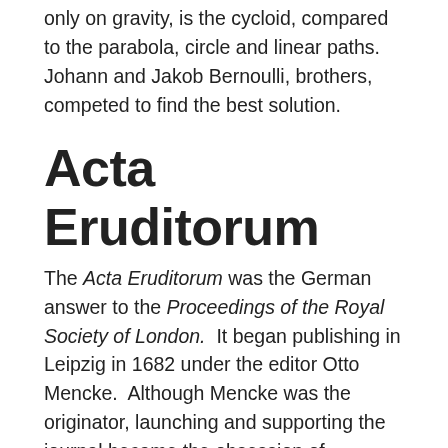only on gravity, is the cycloid, compared to the parabola, circle and linear paths. Johann and Jakob Bernoulli, brothers, competed to find the best solution.
Acta Eruditorum
The Acta Eruditorum was the German answer to the Proceedings of the Royal Society of London. It began publishing in Leipzig in 1682 under the editor Otto Mencke. Although Mencke was the originator, launching and supporting the journal became the obsession of Gottfried Lebiniz, who felt he was a hostage in the backwaters of Hanover Germany but who yearned for a place on the world stage (i.e. Paris or London). By launching the continental publication, the Continental scientists had a freer voice without